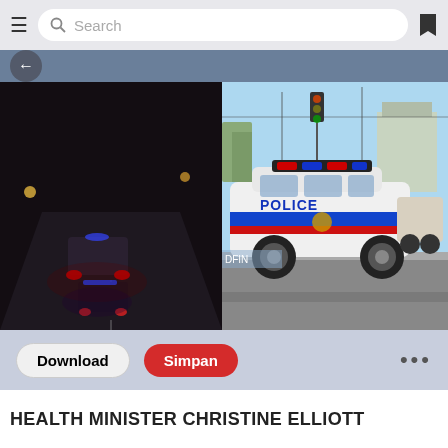Search
[Figure (screenshot): Mobile app screenshot showing two police-related photos side by side: left photo shows nighttime view of cars on a road with red and blue emergency lights; right photo shows a white police SUV (POLICE markings) parked in a daytime outdoor setting.]
Download   Simpan   ...
HEALTH MINISTER CHRISTINE ELLIOTT